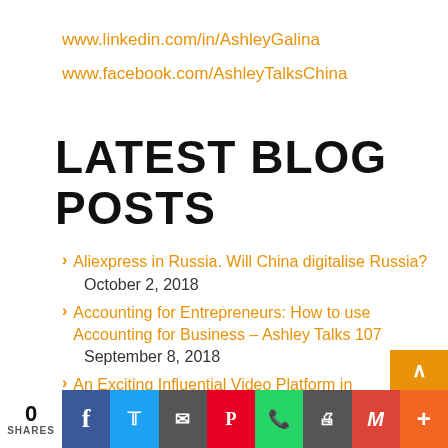www.linkedin.com/in/AshleyGalina
www.facebook.com/AshleyTalksChina
LATEST BLOG POSTS
Aliexpress in Russia. Will China digitalise Russia?
October 2, 2018
Accounting for Entrepreneurs: How to use Accounting for Business – Ashley Talks 107
September 8, 2018
An Exciting Influential Video Platform in